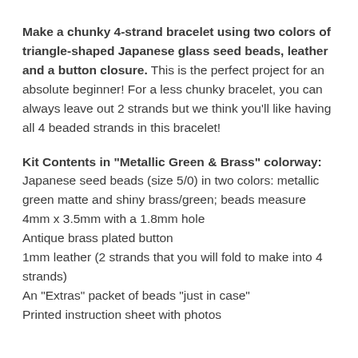Make a chunky 4-strand bracelet using two colors of triangle-shaped Japanese glass seed beads, leather and a button closure. This is the perfect project for an absolute beginner! For a less chunky bracelet, you can always leave out 2 strands but we think you'll like having all 4 beaded strands in this bracelet!
Kit Contents in "Metallic Green & Brass" colorway:
Japanese seed beads (size 5/0) in two colors: metallic green matte and shiny brass/green; beads measure 4mm x 3.5mm with a 1.8mm hole
Antique brass plated button
1mm leather (2 strands that you will fold to make into 4 strands)
An "Extras" packet of beads "just in case"
Printed instruction sheet with photos